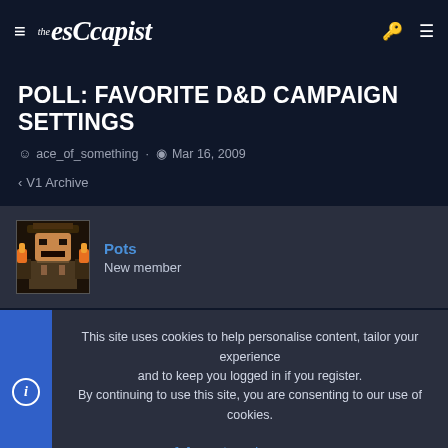the escapist
POLL: FAVORITE D&D CAMPAIGN SETTINGS
ace_of_something · Mar 16, 2009
< V1 Archive
Pots
New member
This site uses cookies to help personalise content, tailor your experience and to keep you logged in if you register.
By continuing to use this site, you are consenting to our use of cookies.
Accept    Learn more...